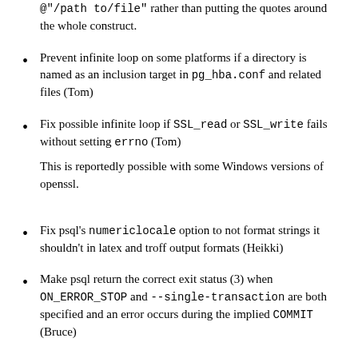@"/path to/file" rather than putting the quotes around the whole construct.
Prevent infinite loop on some platforms if a directory is named as an inclusion target in pg_hba.conf and related files (Tom)
Fix possible infinite loop if SSL_read or SSL_write fails without setting errno (Tom)

This is reportedly possible with some Windows versions of openssl.
Fix psql's numericlocale option to not format strings it shouldn't in latex and troff output formats (Heikki)
Make psql return the correct exit status (3) when ON_ERROR_STOP and --single-transaction are both specified and an error occurs during the implied COMMIT (Bruce)
Fix plpgsql failure in one case where a composite column is